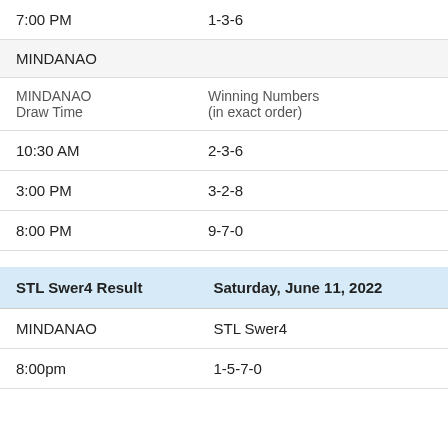| 7:00 PM | 1-3-6 |
| MINDANAO |  |
| MINDANAO Draw Time | Winning Numbers (in exact order) |
| 10:30 AM | 2-3-6 |
| 3:00 PM | 3-2-8 |
| 8:00 PM | 9-7-0 |
| STL Swer4 Result | Saturday, June 11, 2022 |
| --- | --- |
| MINDANAO | STL Swer4 |
| 8:00pm | 1-5-7-0 |